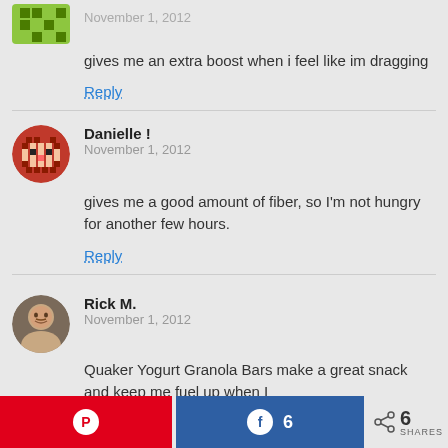gives me an extra boost when i feel like im dragging
Reply
Danielle !
November 1, 2012
gives me a good amount of fiber, so I'm not hungry for another few hours.
Reply
Rick M.
November 1, 2012
Quaker Yogurt Granola Bars make a great snack and keep me fuel up when I travel
Reply
[Figure (other): Social share bar with Pinterest button, Facebook share button showing count 6, and share icon with count 6 SHARES]